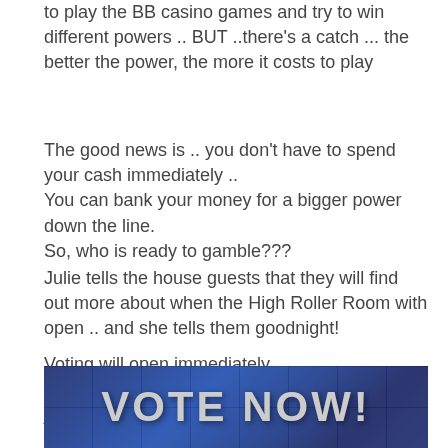to play the BB casino games and try to win different powers .. BUT ..there's a catch ... the better the power, the more it costs to play
The good news is .. you don't have to spend your cash immediately ..
You can bank your money for a bigger power down the line.
So, who is ready to gamble???
Julie tells the house guests that they will find out more about when the High Roller Room with open .. and she tells them goodnight!
Voting will open immediately.
All you need is your phone .. and your vote is just a text away ...
[Figure (other): Blue cube mosaic background graphic with bold text reading 'VOTE NOW!' in large gray letters]